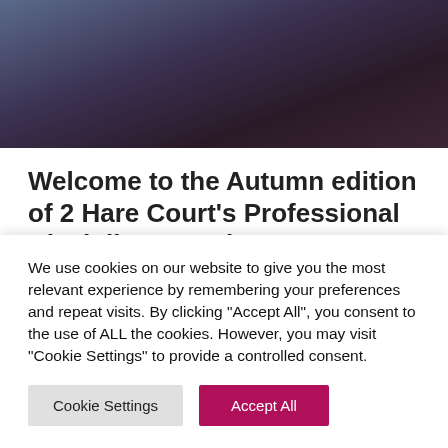[Figure (photo): Dark overhead photo of a desk or legal/court setting, partially visible at the top of the page]
Welcome to the Autumn edition of 2 Hare Court's Professional Discipline Newsletter.
The NMC's long awaited legislative changes have
We use cookies on our website to give you the most relevant experience by remembering your preferences and repeat visits. By clicking "Accept All", you consent to the use of ALL the cookies. However, you may visit "Cookie Settings" to provide a controlled consent.